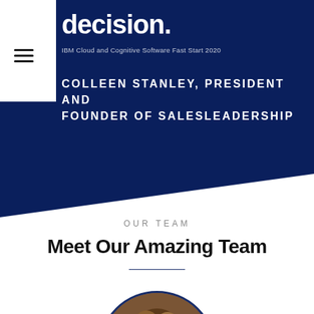[Figure (screenshot): Dark navy blue banner section with white text reading 'decision.' at top, subtitle 'IBM Cloud and Cognitive Software Fast Start 2020', and speaker name/title below]
COLLEEN STANLEY, PRESIDENT AND FOUNDER OF SALESLEADERSHIP
OUR TEAM
Meet Our Amazing Team
[Figure (photo): Circular portrait photo of a woman with highlighted brown hair, professional attire, blue circular border frame]